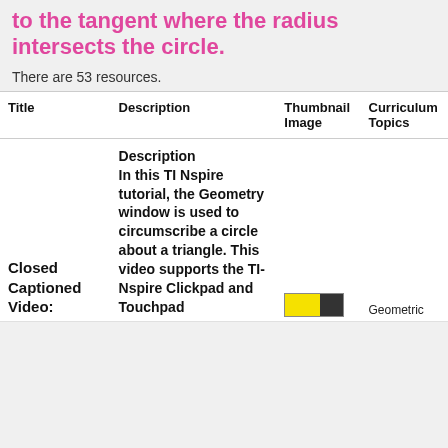to the tangent where the radius intersects the circle.
There are 53 resources.
| Title | Description | Thumbnail Image | Curriculum Topics |
| --- | --- | --- | --- |
| Closed Captioned Video: | Description In this TI Nspire tutorial, the Geometry window is used to circumscribe a circle about a triangle. This video supports the TI-Nspire Clickpad and Touchpad | [thumbnail image] | Geometric |